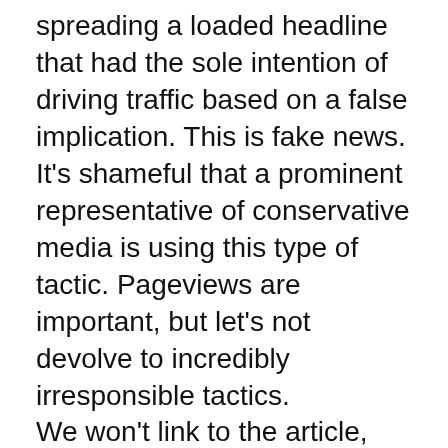spreading a loaded headline that had the sole intention of driving traffic based on a false implication. This is fake news. It's shameful that a prominent representative of conservative media is using this type of tactic. Pageviews are important, but let's not devolve to incredibly irresponsible tactics.
We won't link to the article, but you get the idea from the screenshot above. I hope they'll remove the story or at the least adjust the headline. Just as we will always call out leftist mainstream media for their falsifications and follies, so too must we call out conservative media when they hurt the cause.
We have enough challenges maintaining credibility with unhinged attacks on good conservative media. We don't need prominent right-leaning news outlets acting in